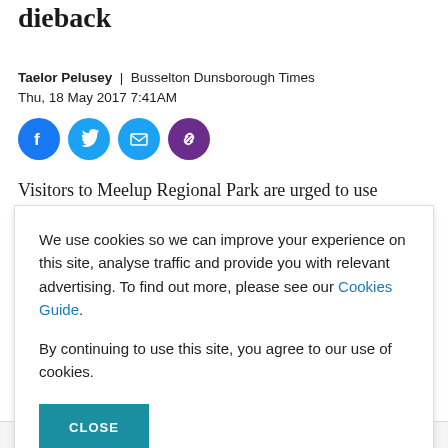dieback
Taelor Pelusey | Busselton Dunsborough Times
Thu, 18 May 2017 7:41AM
[Figure (other): Social media sharing icons: Facebook, Twitter, Email, Link]
Visitors to Meelup Regional Park are urged to use
We use cookies so we can improve your experience on this site, analyse traffic and provide you with relevant advertising. To find out more, please see our Cookies Guide.

By continuing to use this site, you agree to our use of cookies.